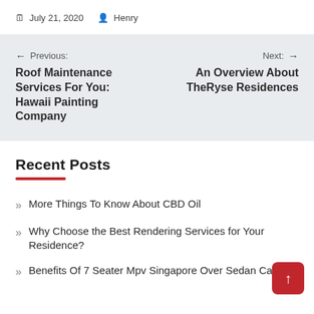July 21, 2020   Henry
← Previous: Roof Maintenance Services For You: Hawaii Painting Company   Next: → An Overview About TheRyse Residences
Recent Posts
More Things To Know About CBD Oil
Why Choose the Best Rendering Services for Your Residence?
Benefits Of 7 Seater Mpv Singapore Over Sedan Cars